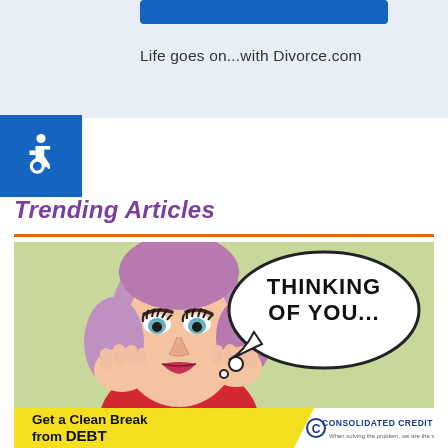Life goes on...with Divorce.com
[Figure (illustration): Accessibility wheelchair icon, white on blue background]
Trending Articles
[Figure (illustration): Pop art style illustration of a woman with purple hair resting her face in her hands, with a speech bubble reading 'THINKING OF YOU...' on a light green background]
Can't Get Your Ex Out Of Your Head? Help Is Here!
[Figure (infographic): Advertisement banner: 'Get a Clean Break from DEBT' in bold black text on yellow background with Consolidated Credit logo on right]